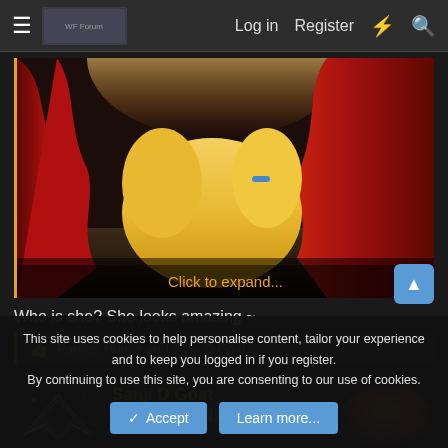Log in  Register
[Figure (illustration): Anime/manga style illustration showing a character with blonde hair and red curtains in background, with a grandfather clock on the right side. 'Click to expand...' overlay text in orange at bottom.]
Who is she? She looks amazing ~
Panties Hunter and Sanji D Goat
Sanji D Goat
Cookie banner: This site uses cookies to help personalise content, tailor your experience and to keep you logged in if you register. By continuing to use this site, you are consenting to our use of cookies.
Accept  Learn more...